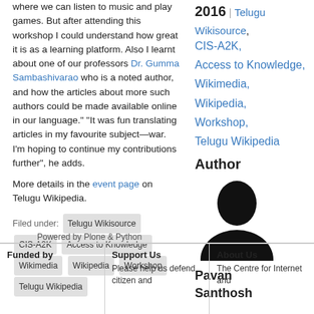where we can listen to music and play games. But after attending this workshop I could understand how great it is as a learning platform. Also I learnt about one of our professors Dr. Gumma Sambashivarao who is a noted author, and how the articles about more such authors could be made available online in our language." "It was fun translating articles in my favourite subject—war. I'm hoping to continue my contributions further", he adds.
More details in the event page on Telugu Wikipedia.
Filed under: Telugu Wikisource  CIS-A2K  Access to Knowledge  Wikimedia  Wikipedia  Workshop  Telugu Wikipedia
2016 | Telugu Wikisource, CIS-A2K, Access to Knowledge, Wikimedia, Wikipedia, Workshop, Telugu Wikipedia
Author
[Figure (photo): Silhouette author photo placeholder]
Pavan Santhosh
Powered by Plone & Python
Funded by
Support Us
About Us
Please help us defend citizen and
The Centre for Internet and